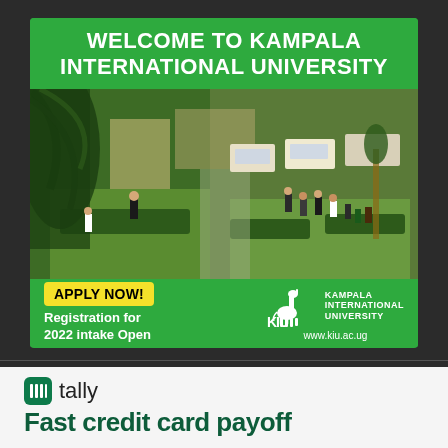[Figure (infographic): Kampala International University advertisement banner. Green background with white bold text header 'WELCOME TO KAMPALA INTERNATIONAL UNIVERSITY'. Campus photo showing green grounds, students, trees, and parked vehicles. Bottom section with yellow 'APPLY NOW!' button, white text 'Registration for 2022 intake Open', KIU giraffe logo, 'KAMPALA INTERNATIONAL UNIVERSITY' text, and website 'www.kiu.ac.ug'.]
[Figure (logo): Tally app logo (green rounded square with white barcode/lines icon) followed by 'tally' text and tagline 'Fast credit card payoff' in dark green bold.]